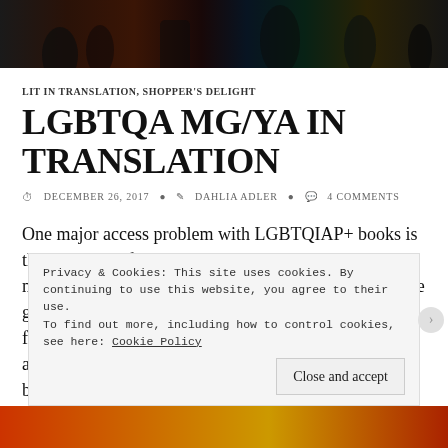[Figure (photo): Dark colorful header banner image with silhouettes]
LIT IN TRANSLATION, SHOPPER'S DELIGHT
LGBTQA MG/YA IN TRANSLATION
DECEMBER 26, 2017  DAHLIA ADLER  4 COMMENTS
One major access problem with LGBTQIAP+ books is that so many of them are published in English and never translated into anything else. To that end, here are great books that are (or will be; some of these are forthcoming) a b
Privacy & Cookies: This site uses cookies. By continuing to use this website, you agree to their use.
To find out more, including how to control cookies, see here: Cookie Policy
Close and accept